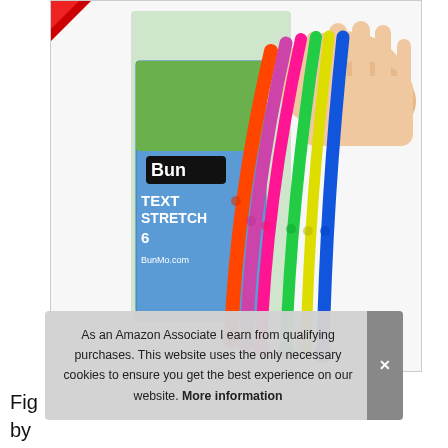[Figure (photo): Photo of colorful textured stretch strings/tubes from BunMo brand, held in hand, with product box partially visible showing 'BunMo TEXTURED STRETCH 6 BunMo.com']
As an Amazon Associate I earn from qualifying purchases. This website uses the only necessary cookies to ensure you get the best experience on our website. More information
Fig by